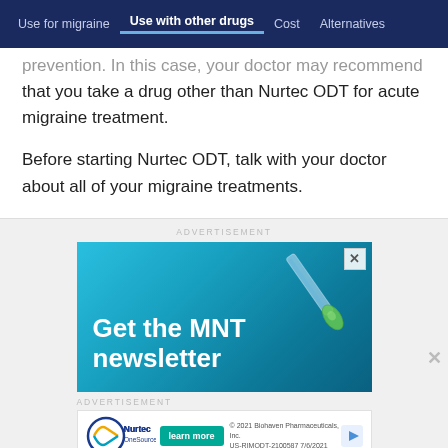Use for migraine | Use with other drugs | Cost | Alternatives
prevention. In this case, your doctor may recommend that you take a drug other than Nurtec ODT for acute migraine treatment.
Before starting Nurtec ODT, talk with your doctor about all of your migraine treatments.
[Figure (infographic): Advertisement banner: Get the MNT newsletter, with a dropper/pipette image on a blue gradient background, and a close button (X) in the top right corner.]
[Figure (infographic): Advertisement banner: Nurtec OneSource logo, learn more button, copyright 2021 Biohaven Pharmaceuticals, Inc. US-RIMODT-2100587 7/6/2021]